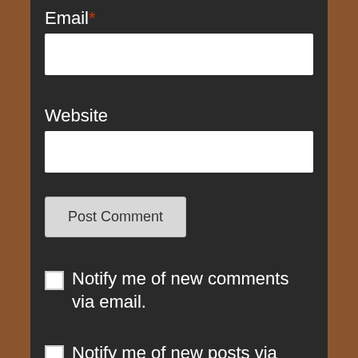Email*
[Figure (other): Empty white text input field for email]
Website
[Figure (other): Empty white text input field for website]
[Figure (other): Post Comment button, light gray]
Notify me of new comments via email.
Notify me of new posts via email.
[Figure (other): Search input field with placeholder text 'Search ...']